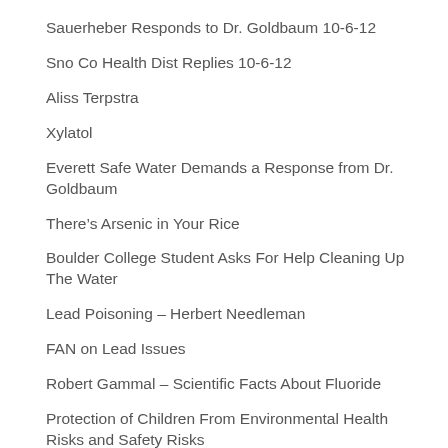Sauerheber Responds to Dr. Goldbaum 10-6-12
Sno Co Health Dist Replies 10-6-12
Aliss Terpstra
Xylatol
Everett Safe Water Demands a Response from Dr. Goldbaum
There’s Arsenic in Your Rice
Boulder College Student Asks For Help Cleaning Up The Water
Lead Poisoning – Herbert Needleman
FAN on Lead Issues
Robert Gammal – Scientific Facts About Fluoride
Protection of Children From Environmental Health Risks and Safety Risks
Arsenic in Chickens and Rice